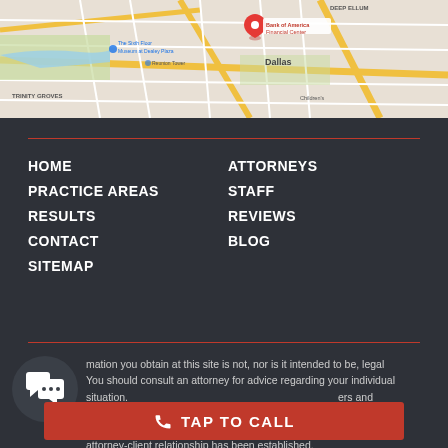[Figure (map): Google Maps screenshot showing downtown Dallas area with a red pin marker at Bank of America Financial Center. Shows Trinity Groves, Reunion Tower, The Sixth Floor Museum at Dealey Plaza, Deep Ellum, and Children's landmarks.]
HOME
PRACTICE AREAS
RESULTS
CONTACT
SITEMAP
ATTORNEYS
STAFF
REVIEWS
BLOG
mation you obtain at this site is not, nor is it intended to be, legal. You should consult an attorney for advice regarding your individual situation. ers and electronic ationship. Please d me as an attorney-client relationship has been established.